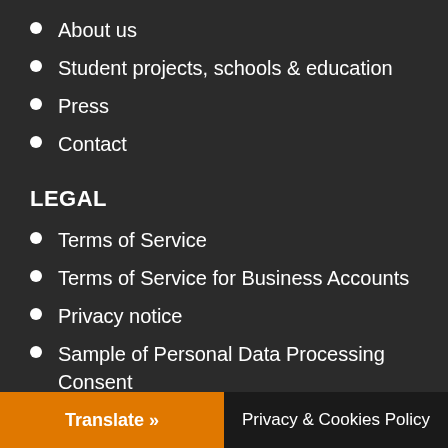About us
Student projects, schools & education
Press
Contact
LEGAL
Terms of Service
Terms of Service for Business Accounts
Privacy notice
Sample of Personal Data Processing Consent
Cookie policy
GDPR compliance
VAT regulations
Translate »    Privacy & Cookies Policy